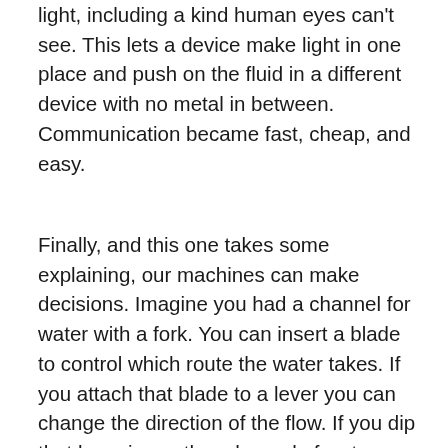light, including a kind human eyes can't see. This lets a device make light in one place and push on the fluid in a different device with no metal in between. Communication became fast, cheap, and easy.
Finally, and this one takes some explaining, our machines can make decisions. Imagine you had a channel for water with a fork. You can insert a blade to control which route the water takes. If you attach that blade to a lever you can change the direction of the flow. If you dip that lever in another channel of water, then what flows in one channel can set which way another channel goes. It turns out that that's all you need to make simple decisions like “If water is in this channel, flow down that other one.”, which can then be turned into useful statements like “Put water in this channel if you’re attacked. It’ll redirect the other channel and release boiling oil.” With enough of these water